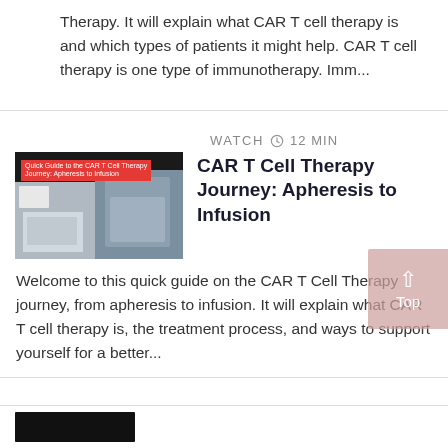Therapy. It will explain what CAR T cell therapy is and which types of patients it might help. CAR T cell therapy is one type of immunotherapy. Imm...
WATCH  12 min
[Figure (screenshot): Video thumbnail showing a dark background with a red label reading 'Quick Guide to the CAR T Cell Therapy Journey: Apheresis to Infusion', overlaid on images of a medical room and a patient.]
CAR T Cell Therapy Journey: Apheresis to Infusion
Welcome to this quick guide on the CAR T Cell Therapy journey, from apheresis to infusion. It will explain what CAR T cell therapy is, the treatment process, and ways to support yourself for a better...